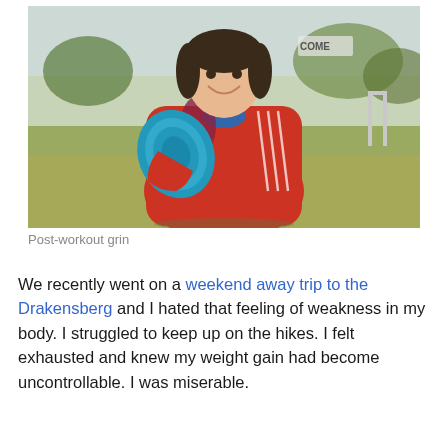[Figure (photo): Woman in red Adidas jacket smiling and holding a rolled blue yoga/exercise mat outdoors on a grass field. Trees, buildings, and a goalpost visible in background. Post-workout setting.]
Post-workout grin
We recently went on a weekend away trip to the Drakensberg and I hated that feeling of weakness in my body. I struggled to keep up on the hikes. I felt exhausted and knew my weight gain had become uncontrollable. I was miserable.